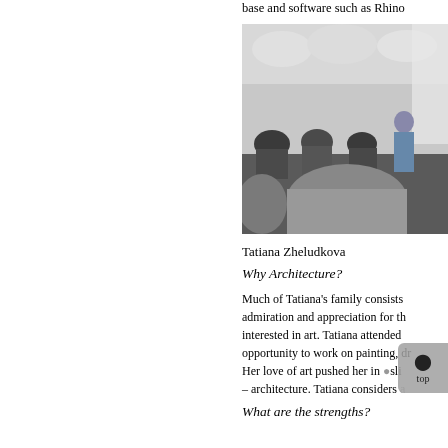base and software such as Rhino
[Figure (photo): Photo of a lecture or presentation session in an architectural or modern interior space, with a presenter standing and audience seated]
Tatiana Zheludkova
Why Architecture?
Much of Tatiana's family consists admiration and appreciation for the interested in art. Tatiana attended opportunity to work on painting, d Her love of art pushed her in slig – architecture. Tatiana considers a
What are the strengths?